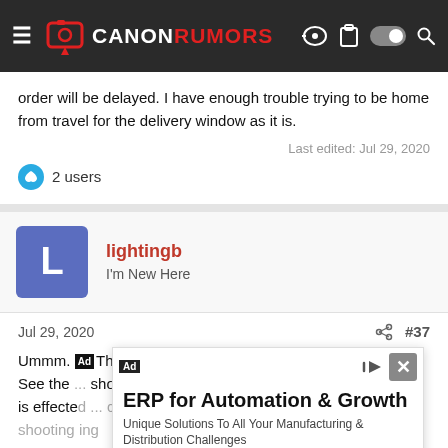CANON RUMORS
order will be delayed. I have enough trouble trying to be home from travel for the delivery window as it is.
Last edited: Jul 29, 2020
2 users
lightingb
I'm New Here
Jul 29, 2020  #37
Ummm... This put my stomach in a knot...
See the ... shooting is effected ... can stop shooting ... ng stills....
[Figure (screenshot): Advertisement overlay for ERP for Automation & Growth by Omegacube ERP with Open button]